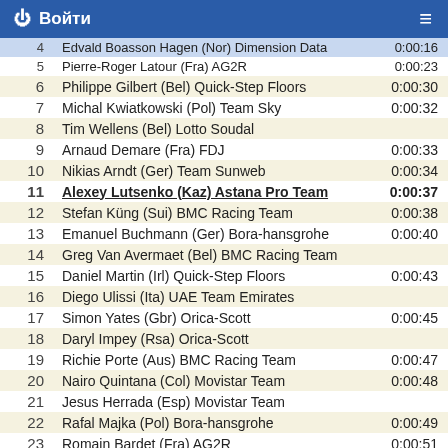Войти
| # | Rider | Time |
| --- | --- | --- |
| 4 | Edvald Boasson Hagen (Nor) Dimension Data | 0:00:16 |
| 5 | Pierre-Roger Latour (Fra) AG2R | 0:00:23 |
| 6 | Philippe Gilbert (Bel) Quick-Step Floors | 0:00:30 |
| 7 | Michal Kwiatkowski (Pol) Team Sky | 0:00:32 |
| 8 | Tim Wellens (Bel) Lotto Soudal |  |
| 9 | Arnaud Demare (Fra) FDJ | 0:00:33 |
| 10 | Nikias Arndt (Ger) Team Sunweb | 0:00:34 |
| 11 | Alexey Lutsenko (Kaz) Astana Pro Team | 0:00:37 |
| 12 | Stefan Küng (Sui) BMC Racing Team | 0:00:38 |
| 13 | Emanuel Buchmann (Ger) Bora-hansgrohe | 0:00:40 |
| 14 | Greg Van Avermaet (Bel) BMC Racing Team |  |
| 15 | Daniel Martin (Irl) Quick-Step Floors | 0:00:43 |
| 16 | Diego Ulissi (Ita) UAE Team Emirates |  |
| 17 | Simon Yates (Gbr) Orica-Scott | 0:00:45 |
| 18 | Daryl Impey (Rsa) Orica-Scott |  |
| 19 | Richie Porte (Aus) BMC Racing Team | 0:00:47 |
| 20 | Nairo Quintana (Col) Movistar Team | 0:00:48 |
| 21 | Jesus Herrada (Esp) Movistar Team |  |
| 22 | Rafal Majka (Pol) Bora-hansgrohe | 0:00:49 |
| 23 | Romain Bardet (Fra) AG2R | 0:00:51 |
| 24 | Alberto Bettiol (Ita) Cannondale-Drapac | 0:00:52 |